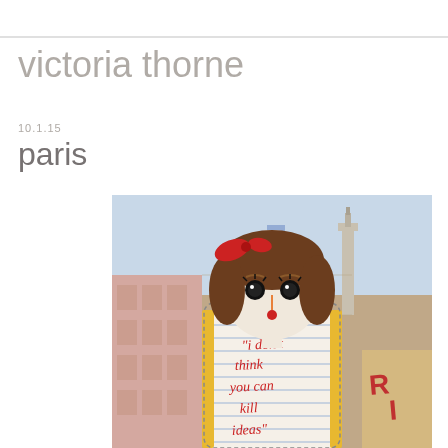victoria thorne
10.1.15
paris
[Figure (photo): A fabric doll with a girl's face featuring button eyes, brown hair with a red bow, and a red dot mouth, placed against a collage background depicting Paris landmarks including a tall column. The doll's body resembles a pencil with lined paper and reads in red handwritten text: "i don't think you can kill ideas"]